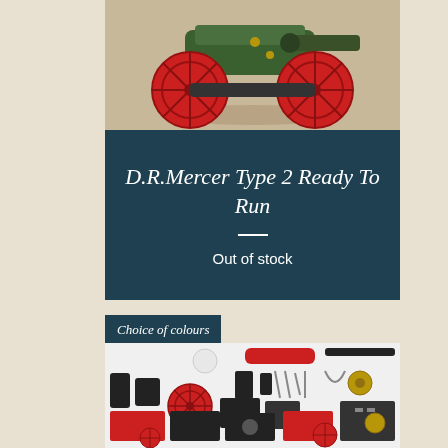[Figure (photo): Photo of a model traction engine or cannon with red wheels and green body on a beige surface]
D.R.Mercer Type 2 Ready To Run
Out of stock
Choice of colours
[Figure (photo): Flat lay photo showing all the individual parts and components of a model steam engine kit laid out on a white surface, including red and black metal pieces, wheels, and small hardware]